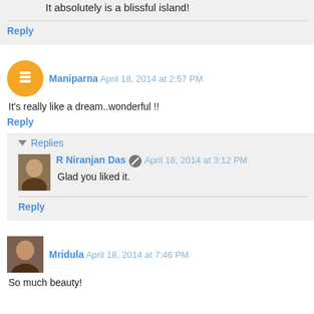It absolutely is a blissful island!
Reply
Maniparna  April 18, 2014 at 2:57 PM
It's really like a dream..wonderful !!
Reply
Replies
R Niranjan Das  April 18, 2014 at 3:12 PM
Glad you liked it.
Reply
Mridula  April 18, 2014 at 7:46 PM
So much beauty!